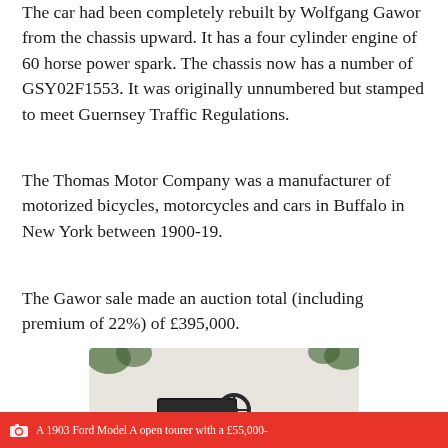The car had been completely rebuilt by Wolfgang Gawor from the chassis upward. It has a four cylinder engine of 60 horse power spark. The chassis now has a number of GSY02F1553. It was originally unnumbered but stamped to meet Guernsey Traffic Regulations.
The Thomas Motor Company was a manufacturer of motorized bicycles, motorcycles and cars in Buffalo in New York between 1900-19.
The Gawor sale made an auction total (including premium of 22%) of £395,000.
[Figure (photo): A vintage red open-top automobile, circa early 1900s, photographed on a rustic stone/brick floor. The car is a two-seater with spoke wheels, brass headlamps, and red bodywork with black mechanical components.]
A 1903 Ford Model A open tourer with a £55,000-